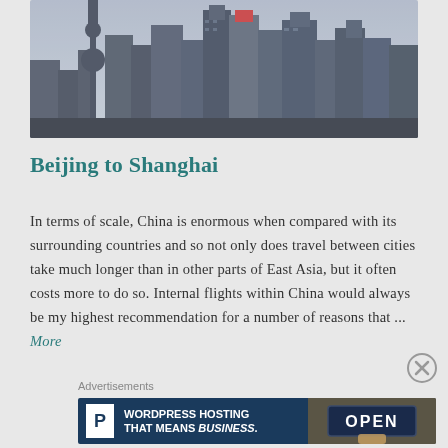[Figure (photo): Skyline of a Chinese city (Shanghai) with tall modern skyscrapers under a cloudy sky]
Beijing to Shanghai
In terms of scale, China is enormous when compared with its surrounding countries and so not only does travel between cities take much longer than in other parts of East Asia, but it often costs more to do so. Internal flights within China would always be my highest recommendation for a number of reasons that ...
More
Advertisements
[Figure (screenshot): Advertisement banner for WordPress hosting with text: WORDPRESS HOSTING THAT MEANS BUSINESS. featuring a P logo on dark blue background and an OPEN sign photo on the right]